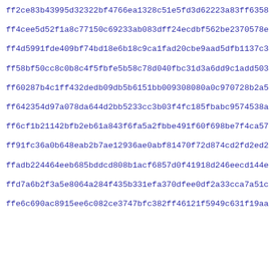ff2ce83b43995d32322bf4766ea1328c51e5fd3d62223a83ff63584238ad9
ff4cee5d52f1a8c77150c69233ab083dff24ecdbf562be2370578ed702acb
ff4d5991fde409bf74bd18e6b18c9ca1fad20cbe9aad5dfb1137c3ccfa6c5
ff58bf50cc8c0b8c4f5fbfe5b58c78d040fbc31d3a6dd9c1add503dd810da
ff60287b4c1ff432dedb09db5b6151bb009308080a0c970728b2a517c477b
ff642354d97a078da644d2bb5233cc3b03f4fc185fbabc9574538a1a84274
ff6cf1b21142bfb2eb61a843f6fa5a2fbbe491f60f698be7f4ca57c4693bc
ff91fc36a0b648eab2b7ae12936ae0abf81470f72d874cd2fd2ed2509a437
ffadb224464eeb685bddcd808b1acf6857d0f41918d246eecd144e503f5fa
ffd7a6b2f3a5e8064a284f435b331efa370dfee0df2a33cca7a51c947a65f
ffe6c690ac8915ee6c082ce3747bfc382ff46121f5949c631f19aa9fe891b